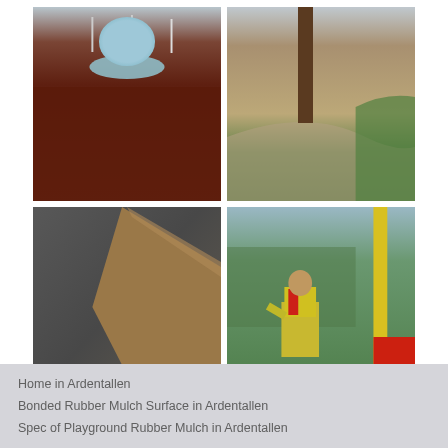[Figure (photo): Four photos arranged in a 2x2 grid showing rubber mulch playground surfaces and installation. Top-left: dark red rubber mulch playground with circular merry-go-round. Top-right: gravel/rubber path winding around a tree with grass border. Bottom-left: dark rubber surface meeting a wooden fence. Bottom-right: worker in yellow hi-vis vest installing rubber mulch near colorful playground equipment.]
Home in Ardentallen
Bonded Rubber Mulch Surface in Ardentallen
Spec of Playground Rubber Mulch in Ardentallen